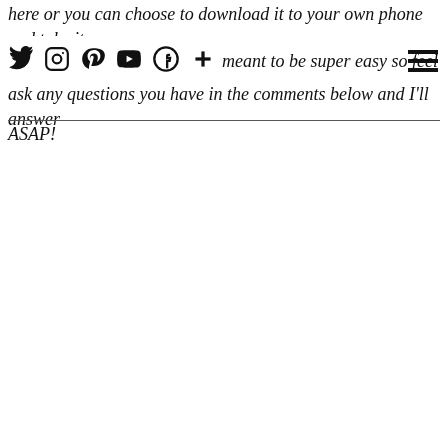here or you can choose to download it to your own phone and take it ...meant to be super easy so feel ...ask any questions you have in the comments below and I'll answer ASAP!
Navigation bar with social media icons: Twitter, Instagram, Pinterest, YouTube, Facebook, Plus, and hamburger menu